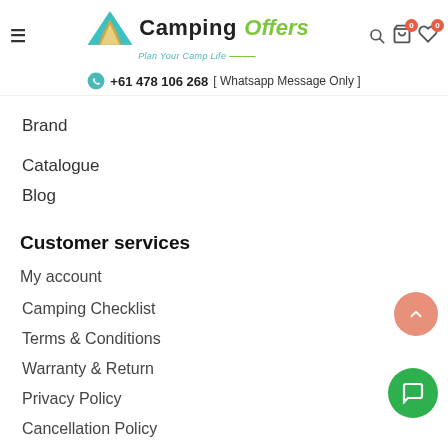Camping Offers – Plan Your Camp Life header with navigation icons
+61 478 106 268 [ Whatsapp Message Only ]
Brand
Catalogue
Blog
Customer services
My account
Camping Checklist
Terms & Conditions
Warranty & Return
Privacy Policy
Cancellation Policy
Shipping Guide